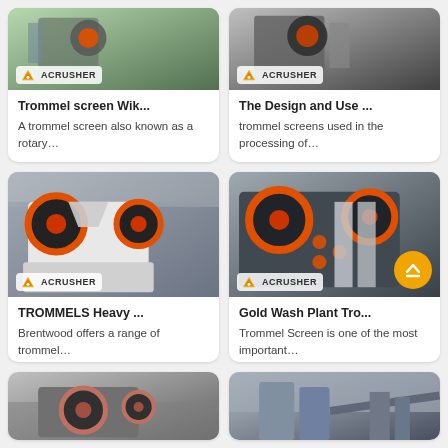[Figure (photo): Trommel screen machinery photo with Acrusher logo badge, green/mechanical background]
[Figure (photo): Trommel screen close-up machinery photo with Acrusher logo badge, dark industrial background]
Trommel screen Wik...
A trommel screen also known as a rotary…
The Design and Use ...
trommel screens used in the processing of…
[Figure (photo): Heavy jaw crusher machine with large red and black flywheels, white body, Acrusher logo badge]
[Figure (photo): Gold wash plant jaw crusher with red and black flywheels on dark body, Acrusher logo badge, scroll-to-top orange button]
TROMMELS Heavy ...
Brentwood offers a range of trommel…
Gold Wash Plant Tro...
Trommel Screen is one of the most important…
[Figure (photo): Industrial jaw crusher machinery in warehouse setting]
[Figure (photo): Industrial plant with silos and conveyor infrastructure, outdoor setting]